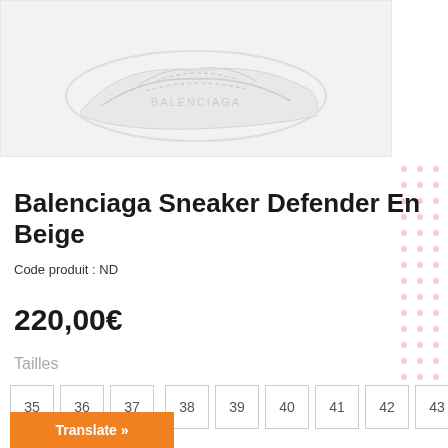[Figure (photo): Product photo of Balenciaga Sneaker Defender in beige, faded/washed out appearance on light gray background]
Balenciaga Sneaker Defender En Beige
Code produit : ND
220,00€
Tailles
35
36
37
38
39
40
41
42
43
Translate »